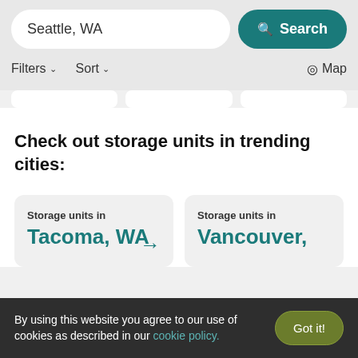Seattle, WA
Search
Filters
Sort
Map
Check out storage units in trending cities:
Storage units in
Tacoma, WA
Storage units in
Vancouver,
By using this website you agree to our use of cookies as described in our cookie policy.
Got it!